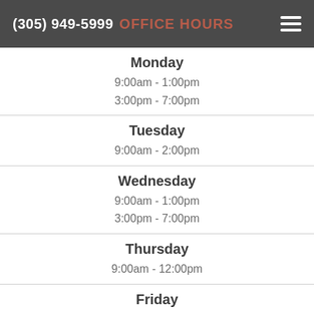(305) 949-5999 OFFICE HOURS
Monday
9:00am - 1:00pm
3:00pm - 7:00pm
Tuesday
9:00am - 2:00pm
Wednesday
9:00am - 1:00pm
3:00pm - 7:00pm
Thursday
9:00am - 12:00pm
Friday
9:00am - 1:00pm
3:00pm - 6:00pm
Saturday
Closed